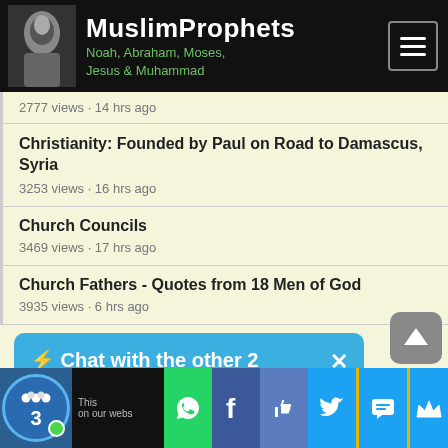MuslimProphets — Noah, Abraham, Moses, Jesus & Muhammad
2777 views · 14 hrs ago
Christianity: Founded by Paul on Road to Damascus, Syria
3253 views · 16 hrs ago
Church Councils
3469 views · 17 hrs ago
Church Fathers - Quotes from 18 Men of God
3935 views · 6 hrs ago
[Figure (screenshot): Chat popup: ⚡ Chat with the other 2 visitors now]
Codex Sinaiticus & Vaticanus - Corruption in the KJV Bible
This on our webs... | WhatsApp | Facebook | Like | Twitter | SMS | Crown icon | 3 visitors online